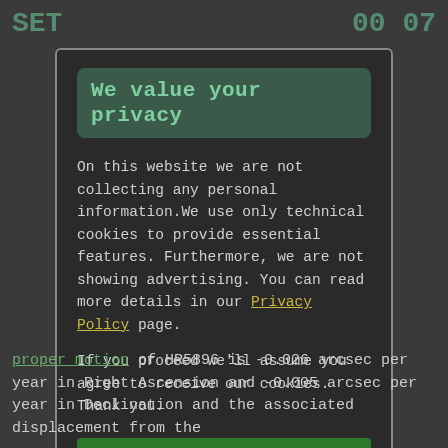SET  00 07
We value your privacy
On this website we are not collecting any personal information.We use only technical cookies to provide essential features. Furthermore, we are not showing advertising. You can read more details in our Privacy Policy page.
If you proceed we'll assume you agree to receive our cookies. Thank you.
Proceed to TheSkyLive.com
proper motion of HR5896 is -0.026 arcsec per year in Right Ascension and -0.005 arcsec per year in Declination and the associated displacement from the...